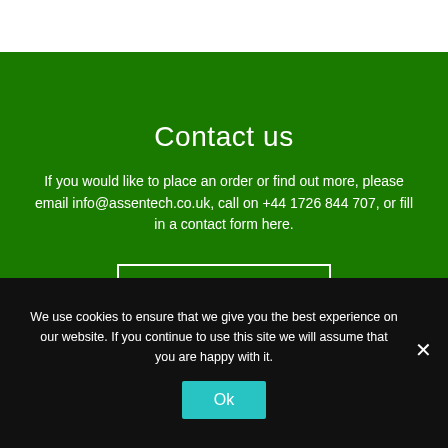Contact us
If you would like to place an order or find out more, please email info@assentech.co.uk, call on +44 1726 844 707, or fill in a contact form here.
Click here
We use cookies to ensure that we give you the best experience on our website. If you continue to use this site we will assume that you are happy with it.
Ok